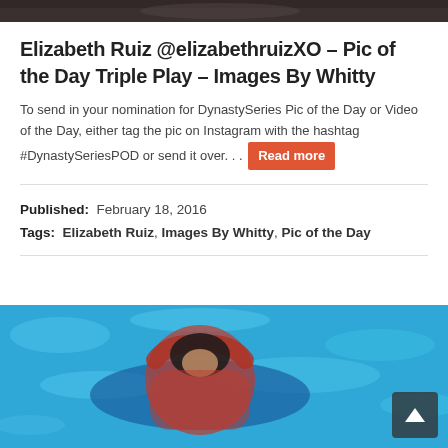[Figure (photo): Partial cropped photo at top of page, dark tones]
Elizabeth Ruiz @elizabethruizXO – Pic of the Day Triple Play – Images By Whitty
To send in your nomination for DynastySeries Pic of the Day or Video of the Day, either tag the pic on Instagram with the hashtag #DynastySeriesPOD or send it over. . . Read more
Published: February 18, 2016
Tags: Elizabeth Ruiz, Images By Whitty, Pic of the Day
[Figure (photo): Woman in red patterned outfit floating on blue pool raft in swimming pool, arms raised over head]